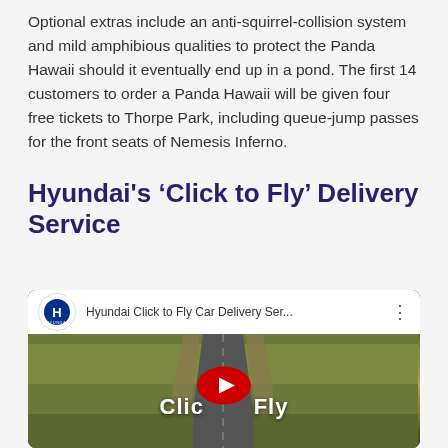Optional extras include an anti-squirrel-collision system and mild amphibious qualities to protect the Panda Hawaii should it eventually end up in a pond. The first 14 customers to order a Panda Hawaii will be given four free tickets to Thorpe Park, including queue-jump passes for the front seats of Nemesis Inferno.
Hyundai's ‘Click to Fly’ Delivery Service
[Figure (screenshot): YouTube video thumbnail for 'Hyundai Click to Fly Car Delivery Ser...' showing an aerial view of a road through scrubland with a YouTube play button and text 'Click to Fly' overlaid.]